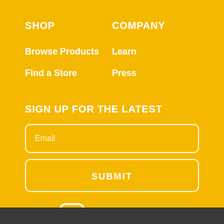SHOP
COMPANY
Browse Products
Learn
Find a Store
Press
SIGN UP FOR THE LATEST
Email
SUBMIT
[Figure (illustration): Social media icons: Instagram, Facebook, Twitter in white on yellow background]